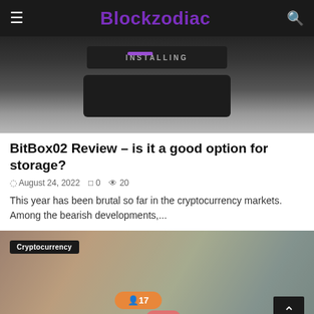Blockzodiac
[Figure (photo): Close-up photo of a hardware device (BitBox02) being set up, showing a dark rectangular device with 'INSTALLING' text on screen, resting on a metallic surface]
BitBox02 Review – is it a good option for storage?
August 24, 2022  0  20
This year has been brutal so far in the cryptocurrency markets. Among the bearish developments,...
[Figure (photo): Blurred photo of a person holding a smartphone with social media notification icons visible showing counts: 17 followers, 2 comments, 23 hearts. A 'Cryptocurrency' category badge overlays the top left corner.]